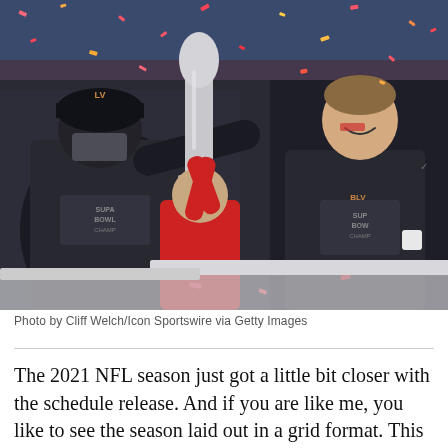[Figure (photo): Super Bowl celebration photo showing a coach and Tom Brady in Tampa Bay Buccaneers Super Bowl Champions gear, holding the Lombardi Trophy with confetti falling around them]
Photo by Cliff Welch/Icon Sportswire via Getty Images
The 2021 NFL season just got a little bit closer with the schedule release. And if you are like me, you like to see the season laid out in a grid format. This allows you a variety of options to link data points to teams